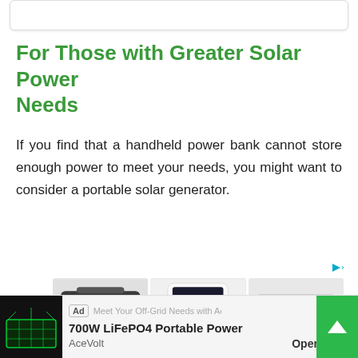[Figure (screenshot): Top white card/box area, partially visible]
For Those with Greater Solar Power Needs
If you find that a handheld power bank cannot store enough power to meet your needs, you might want to consider a portable solar generator.
[Figure (photo): Three solar generator product images shown in an ad grid: a dark portable power station, a tall white Bluetti power station with wheels, and a grey/black portable power station.]
[Figure (screenshot): Bottom advertisement banner: Ad badge, thumbnail of green solar panel image, text '700W LiFePO4 Portable Power', brand name 'AceVolt', Open button, and green scroll-up button]